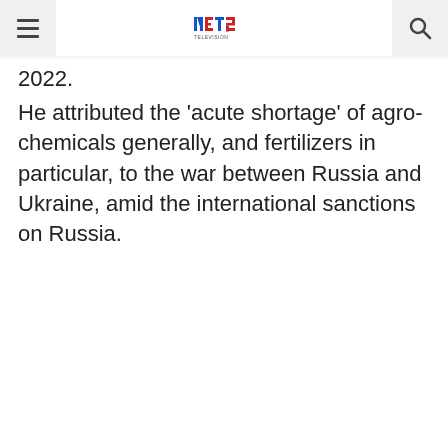NET2 TELEVISION [logo]
2022.
He attributed the 'acute shortage' of agro-chemicals generally, and fertilizers in particular, to the war between Russia and Ukraine, amid the international sanctions on Russia.